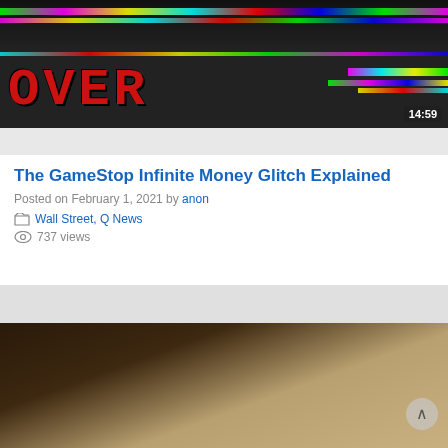[Figure (screenshot): YouTube video thumbnail showing a person in a hoodie with glitch/colorful pixel effects and large red text 'OVER' with duration badge '14:59']
The GameStop Infinite Money Glitch Explained
Posted on February 1, 2021 by anon
Wall Street, Q News
737 views
[Figure (screenshot): Second video thumbnail showing a man's face in a dark indoor setting]